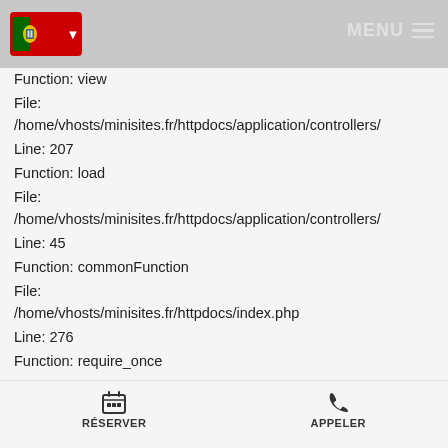MENU (navigation bar with Portuguese flag and menu icon)
Line: 14
Function: view
File:
/home/vhosts/minisites.fr/httpdocs/application/controllers/
Line: 207
Function: load
File:
/home/vhosts/minisites.fr/httpdocs/application/controllers/
Line: 45
Function: commonFunction
File:
/home/vhosts/minisites.fr/httpdocs/index.php
Line: 276
Function: require_once
1.3€ / 1 pièce
Severity: 4096
Message: Object of class
RÉSERVER    APPELER